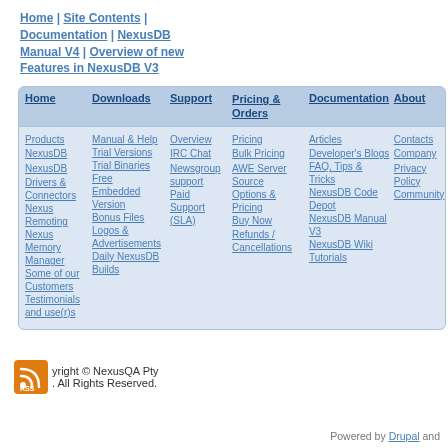Home | Site Contents | Documentation | NexusDB Manual V4 | Overview of new Features in NexusDB V3
| Home | Downloads | Support | Pricing & Orders | Documentation | About |
| --- | --- | --- | --- | --- | --- |
| Products
NexusDB
NexusDB
Drivers & Connectors
Nexus Remoting
Nexus Memory Manager
Some of our Customers
Testimonials and use(r)s | Manual & Help
Trial Versions
Trial Binaries
Free Embedded Version
Bonus Files
Logos & Advertisements
Daily NexusDB Builds | Overview
IRC Chat
Newsgroup support
Paid Support (SLA) | Pricing
Bulk Pricing
AWE Server Source
Options & Pricing
Buy Now
Refunds / Cancellations | Articles
Developer's Blogs
FAQ, Tips & Tricks
NexusDB Code Depot
NexusDB Manual V3
NexusDB Wiki
Tutorials | Contacts
Company
Privacy Policy
Community |
Copyright © NexusQA Pty . All Rights Reserved.
Powered by Drupal and